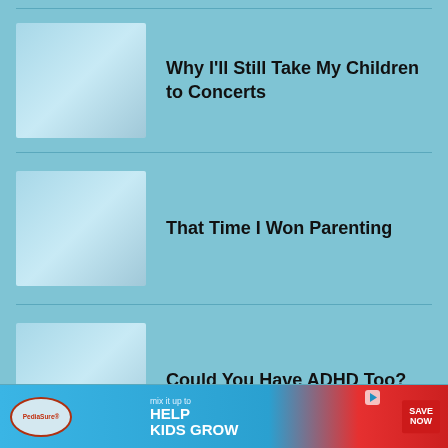Why I'll Still Take My Children to Concerts
[Figure (illustration): Thumbnail image placeholder with light blue gradient]
That Time I Won Parenting
[Figure (illustration): Thumbnail image placeholder with light blue gradient]
Could You Have ADHD Too?
[Figure (illustration): Thumbnail image placeholder with light blue gradient]
[Figure (infographic): PediaSure advertisement banner: 'mix it up to HELP KIDS GROW' with SAVE NOW button]